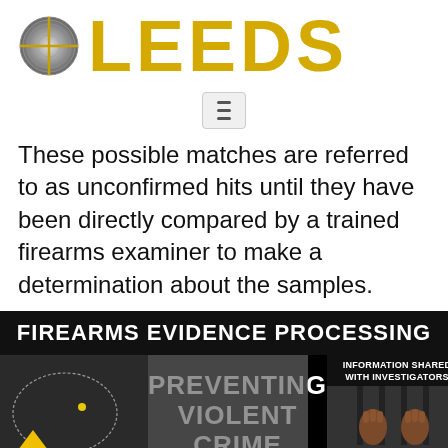[Figure (logo): LEEDS logo with crosshair/target icon in gray and yellow text reading LEEDS]
[Figure (screenshot): Hamburger menu button icon]
These possible matches are referred to as unconfirmed hits until they have been directly compared by a trained firearms examiner to make a determination about the samples.
[Figure (infographic): Firearms Evidence Processing infographic with black banner header, three panels showing: evidence collection (crime scene photo with marker #2), preventing violent crime (center text), and information shared with investigators leading to arrest (hands behind bars image). Yellow arrows at bottom.]